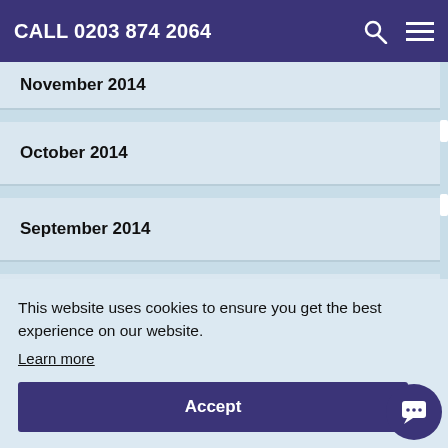CALL 0203 874 2064
November 2014
October 2014
September 2014
August 2014
This website uses cookies to ensure you get the best experience on our website. Learn more
Accept